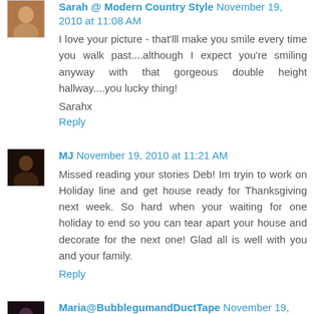Sarah @ Modern Country Style November 19, 2010 at 11:08 AM
I love your picture - that'lll make you smile every time you walk past....although I expect you're smiling anyway with that gorgeous double height hallway....you lucky thing!
Sarahx
Reply
MJ November 19, 2010 at 11:21 AM
Missed reading your stories Deb! Im tryin to work on Holiday line and get house ready for Thanksgiving next week. So hard when your waiting for one holiday to end so you can tear apart your house and decorate for the next one! Glad all is well with you and your family.
Reply
Maria@BubblegumandDuctTape November 19, 2010 at 11:41 AM